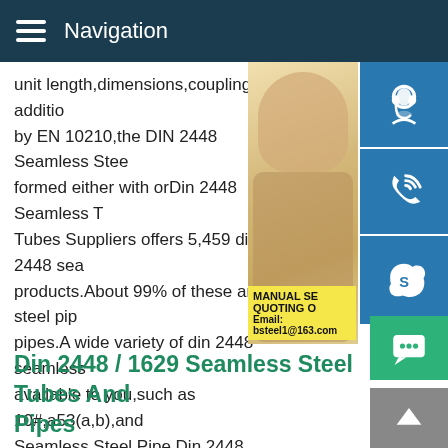Navigation
unit length,dimensions,couplings in addition by EN 10210,the DIN 2448 Seamless Steel formed either with orDin 2448 Seamless Tubes Suppliers offers 5,459 din 2448 seamless products.About 99% of these are steel pipes.A wide variety of din 2448 seamless available to you,such as 10#,a53(a,b),and Seamless Steel Pipe,Din 2448 Pipe Material Steel Pipes tubes standard applies to the conventional masses per unit length of seamless according to the technical conditions of delivery as request in Din 1629 Part 1 to Part 4.Din 17172 and Din 17175.
[Figure (photo): Customer service representative woman with headset, blue sidebar icons for support, phone/Skype, yellow contact box with email bsteel1@163.com]
Din 2448 / 1629 Seamless Steel Tubes And Pipes
More Din 2448 1629 Seamless Steel Tubes Pipes On Mon 27